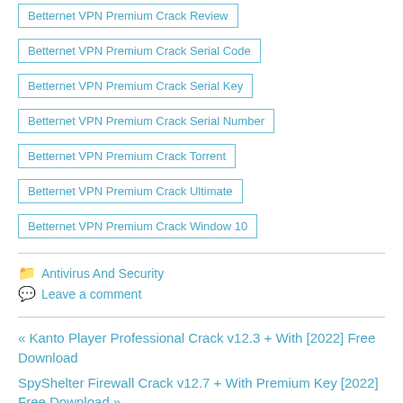Betternet VPN Premium Crack Review
Betternet VPN Premium Crack Serial Code
Betternet VPN Premium Crack Serial Key
Betternet VPN Premium Crack Serial Number
Betternet VPN Premium Crack Torrent
Betternet VPN Premium Crack Ultimate
Betternet VPN Premium Crack Window 10
Antivirus And Security
Leave a comment
« Kanto Player Professional Crack v12.3 + With [2022] Free Download
SpyShelter Firewall Crack v12.7 + With Premium Key [2022] Free Download »